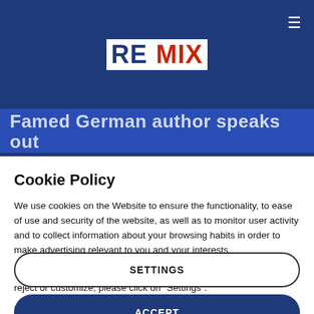REMIX
[Figure (screenshot): Famed German author speaks out — article hero banner text on blue background]
Cookie Policy
We use cookies on the Website to ensure the functionality, to ease of use and security of the website, as well as to monitor user activity and to collect information about your browsing habits in order to make advertising relevant to you and your interests.
Clicking on "Accept" you can allow all cookies. If you would like to reject or customize, please click on "Settings".
Read more: Cookie Policy
SETTINGS
ACCEPT